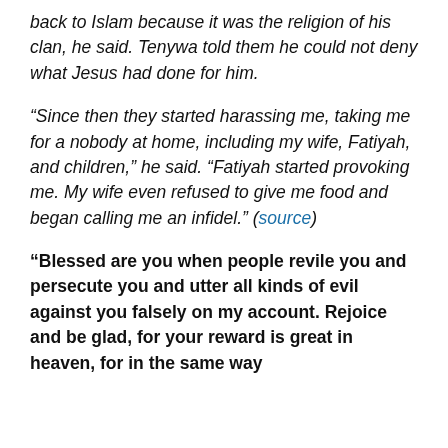back to Islam because it was the religion of his clan, he said. Tenywa told them he could not deny what Jesus had done for him.
“Since then they started harassing me, taking me for a nobody at home, including my wife, Fatiyah, and children,” he said. “Fatiyah started provoking me. My wife even refused to give me food and began calling me an infidel.” (source)
“Blessed are you when people revile you and persecute you and utter all kinds of evil against you falsely on my account. Rejoice and be glad, for your reward is great in heaven, for in the same way